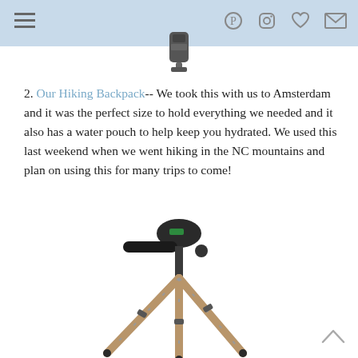Navigation header with menu and social icons
[Figure (photo): Partial image of a hiking backpack, cropped at top of page]
2. Our Hiking Backpack-- We took this with us to Amsterdam and it was the perfect size to hold everything we needed and it also has a water pouch to help keep you hydrated. We used this last weekend when we went hiking in the NC mountains and plan on using this for many trips to come!
[Figure (photo): Photo of a gold/bronze camera tripod with a black 3-way pan head and handle]